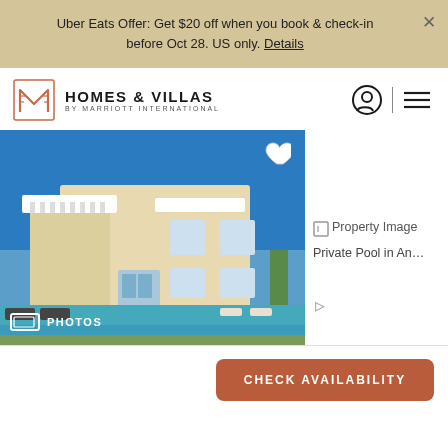Uber Eats Offer: Get $20 off when you book & check-in before Oct 28. US only. Details
[Figure (logo): Homes & Villas by Marriott International logo with decorative M icon]
[Figure (photo): Villa with private pool, white balconies, blue sky background]
PHOTOS
Property Image — Private Pool in An...
CHECK AVAILABILITY